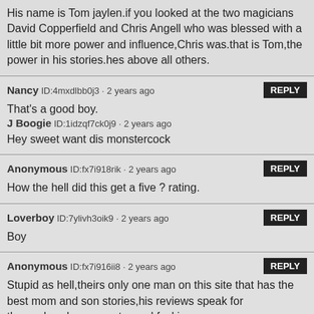His name is Tom jaylen.if you looked at the two magicians David Copperfield and Chris Angell who was blessed with a little bit more power and influence,Chris was.that is Tom,the power in his stories.hes above all others.
Nancy ID:4mxdlbb0j3 · 2 years ago
That's a good boy.
J Boogie ID:1idzqf7ck0j9 · 2 years ago
Hey sweet want dis monstercock
Anonymous ID:fx7i918rik · 2 years ago
How the hell did this get a five ? rating.
Loverboy ID:7ylivh3oik9 · 2 years ago
Boy
Anonymous ID:fx7i916ii8 · 2 years ago
Stupid as hell,theirs only one man on this site that has the best mom and son stories,his reviews speak for themselves.hes a master and fucking guru.